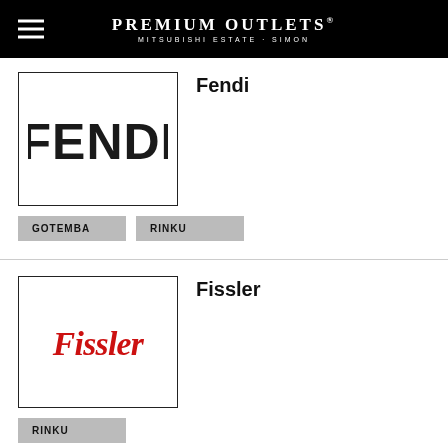PREMIUM OUTLETS® MITSUBISHI ESTATE · SIMON
[Figure (logo): FENDI brand logo — bold black sans-serif text 'FENDI' inside a rectangular border]
Fendi
GOTEMBA
RINKU
[Figure (logo): Fissler brand logo — red cursive script 'Fissler' inside a rectangular border]
Fissler
RINKU